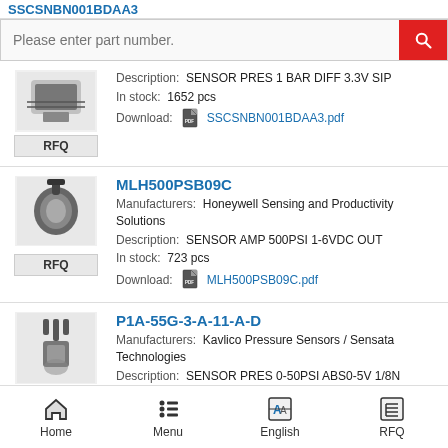SSCSNBN001BDAA3 (partial, top of page)
Please enter part number. (search bar)
Description: SENSOR PRES 1 BAR DIFF 3.3V SIP
In stock: 1652 pcs
Download: SSCSNBN001BDAA3.pdf
MLH500PSB09C
Manufacturers: Honeywell Sensing and Productivity Solutions
Description: SENSOR AMP 500PSI 1-6VDC OUT
In stock: 723 pcs
Download: MLH500PSB09C.pdf
P1A-55G-3-A-11-A-D
Manufacturers: Kavlico Pressure Sensors / Sensata Technologies
Description: SENSOR PRES 0-50PSI ABS0-5V 1/8N
In stock: 648 pcs
Download: P1A-55G-3-A-11-A-D.pdf
26PCAFA6D (partial, bottom)
Home  Menu  English  RFQ